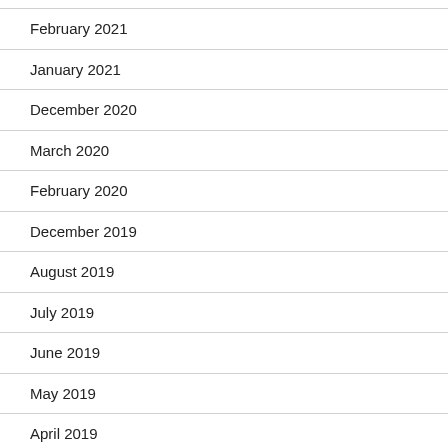February 2021
January 2021
December 2020
March 2020
February 2020
December 2019
August 2019
July 2019
June 2019
May 2019
April 2019